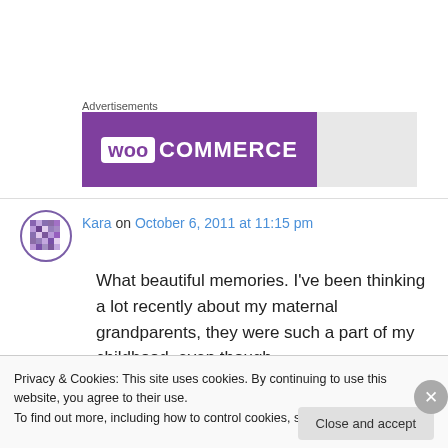Advertisements
[Figure (logo): WooCommerce advertisement banner with purple background showing WooCommerce logo]
Kara on October 6, 2011 at 11:15 pm
What beautiful memories. I've been thinking a lot recently about my maternal grandparents, they were such a part of my childhood, even though
Privacy & Cookies: This site uses cookies. By continuing to use this website, you agree to their use.
To find out more, including how to control cookies, see here: Cookie Policy
Close and accept